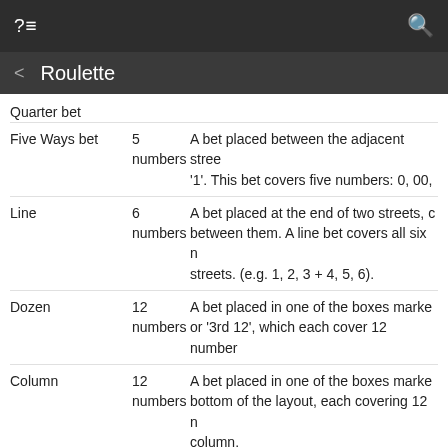?≡   Roulette   🔍
Quarter bet
| Bet Name | Coverage | Description |
| --- | --- | --- |
| Five Ways bet | 5 numbers | A bet placed between the adjacent stre... '1'. This bet covers five numbers: 0, 00, ... |
| Line | 6 numbers | A bet placed at the end of two streets, ... between them. A line bet covers all six n... streets. (e.g. 1, 2, 3 + 4, 5, 6). |
| Dozen | 12 numbers | A bet placed in one of the boxes marke... or '3rd 12', which each cover 12 number... |
| Column | 12 numbers | A bet placed in one of the boxes marke... bottom of the layout, each covering 12 n... column. |
| Adjacent dozen bet | 24 numbers | A bet placed on the line between any tw... boxes marked 1st 12, 2nd 12,, or 2nd 12, 3rd 12, covering... each. |
| Adjacent | 24 | A bet placed on the line between any tw... |